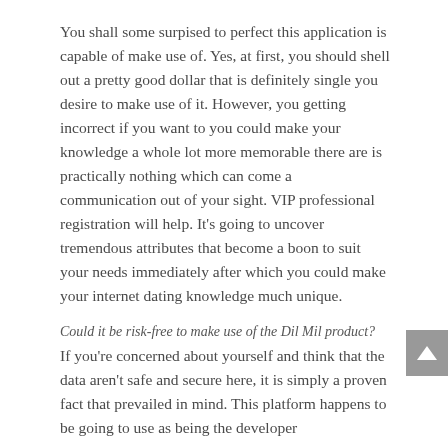You shall some surpised to perfect this application is capable of make use of. Yes, at first, you should shell out a pretty good dollar that is definitely single you desire to make use of it. However, you getting incorrect if you want to you could make your knowledge a whole lot more memorable there are is practically nothing which can come a communication out of your sight. VIP professional registration will help. It's going to uncover tremendous attributes that become a boon to suit your needs immediately after which you could make your internet dating knowledge much unique.
Could it be risk-free to make use of the Dil Mil product?
If you're concerned about yourself and think that the data aren't safe and secure here, it is simply a proven fact that prevailed in mind. This platform happens to be going to use as being the developer